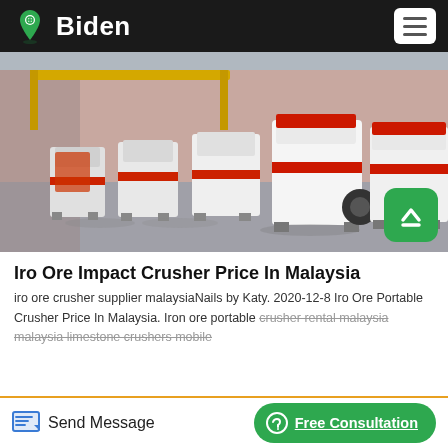Biden
[Figure (photo): Row of white industrial impact crushers with red trim, lined up inside a large warehouse/factory building with pink walls and yellow overhead crane structures.]
Iro Ore Impact Crusher Price In Malaysia
iro ore crusher supplier malaysiaNails by Katy. 2020-12-8 Iro Ore Portable Crusher Price In Malaysia. Iron ore portable crusher rental malaysia malaysia limestone crushers mobile